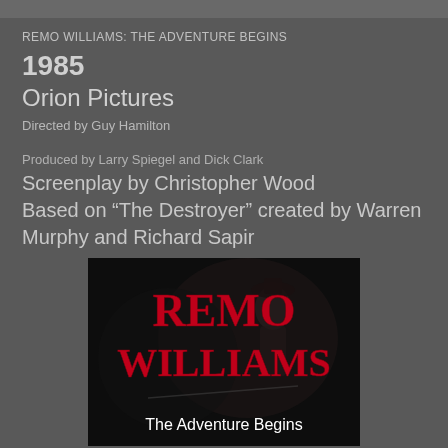REMO WILLIAMS: THE ADVENTURE BEGINS
1985
Orion Pictures
Directed by Guy Hamilton
Produced by Larry Spiegel and Dick Clark
Screenplay by Christopher Wood
Based on “The Destroyer” created by Warren Murphy and Richard Sapir
[Figure (photo): Movie poster for Remo Williams: The Adventure Begins (1985) showing the title in bold red letters with the subtitle 'The Adventure Begins' in white at the bottom, set against a dark background with a shadowy figure.]